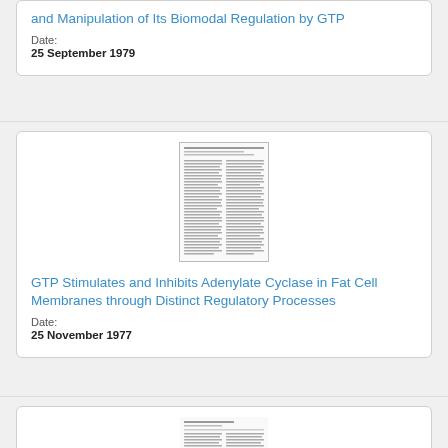and Manipulation of Its Biomodal Regulation by GTP
Date:
25 September 1979
[Figure (photo): Thumbnail image of a scientific paper document]
GTP Stimulates and Inhibits Adenylate Cyclase in Fat Cell Membranes through Distinct Regulatory Processes
Date:
25 November 1977
[Figure (photo): Thumbnail image of a scientific paper document (partially visible)]